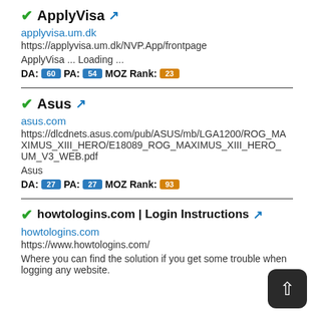✔ApplyVisa 🔗
applyvisa.um.dk
https://applyvisa.um.dk/NVP.App/frontpage
ApplyVisa ... Loading ...
DA: 60  PA: 54  MOZ Rank: 23
✔Asus 🔗
asus.com
https://dlcdnets.asus.com/pub/ASUS/mb/LGA1200/ROG_MAXIMUS_XIII_HERO/E18089_ROG_MAXIMUS_XIII_HERO_UM_V3_WEB.pdf
Asus
DA: 27  PA: 27  MOZ Rank: 93
✔howtologins.com | Login Instructions 🔗
howtologins.com
https://www.howtologins.com/
Where you can find the solution if you get some trouble when logging any website.